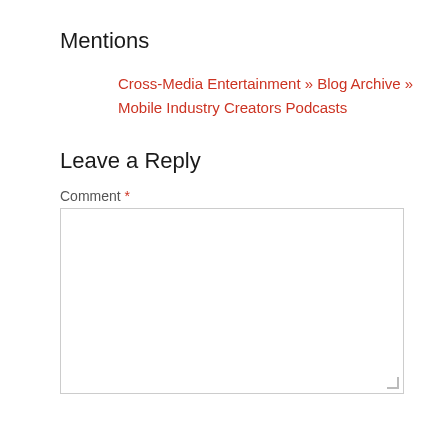Mentions
Cross-Media Entertainment » Blog Archive » Mobile Industry Creators Podcasts
Leave a Reply
Comment *